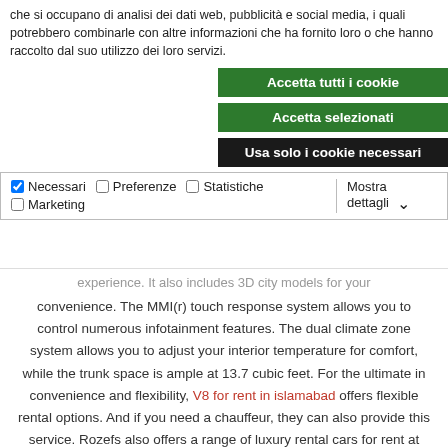che si occupano di analisi dei dati web, pubblicità e social media, i quali potrebbero combinarle con altre informazioni che ha fornito loro o che hanno raccolto dal suo utilizzo dei loro servizi.
Accetta tutti i cookie
Accetta selezionati
Usa solo i cookie necessari
Necessari  Preferenze  Statistiche  Marketing  Mostra dettagli
experience. It also includes 3D city models for your convenience. The MMI(r) touch response system allows you to control numerous infotainment features. The dual climate zone system allows you to adjust your interior temperature for comfort, while the trunk space is ample at 13.7 cubic feet. For the ultimate in convenience and flexibility, V8 for rent in islamabad offers flexible rental options. And if you need a chauffeur, they can also provide this service. Rozefs also offers a range of luxury rental cars for rent at affordable rates. In Islamabad, Rozefs offers the highest quality cars, and the most affordable rental deals in the city.